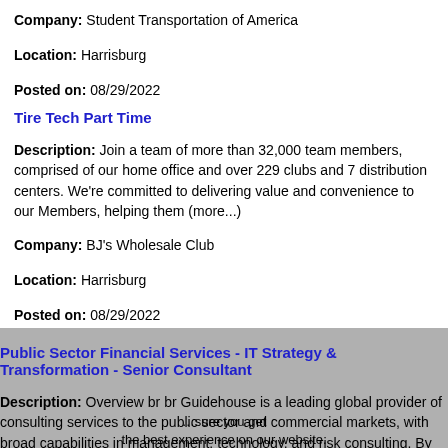Company: Student Transportation of America
Location: Harrisburg
Posted on: 08/29/2022
Tire Tech Part Time
Description: Join a team of more than 32,000 team members, comprised of our home office and over 229 clubs and 7 distribution centers. We're committed to delivering value and convenience to our Members, helping them (more...)
Company: BJ's Wholesale Club
Location: Harrisburg
Posted on: 08/29/2022
Public Sector Financial Services - IT Strategy & Transformation - Senior Consultant
Description: Overview br br Guidehouse is a leading global provider of consulting services to the public sector and commercial markets, with broad capabilities in management, technology, and risk consulting. By (more...)
Company: Guidehouse
Location: Harrisburg
Posted on: 08/29/2022
Salary in Altoona, Pennsylvania Area | More details for